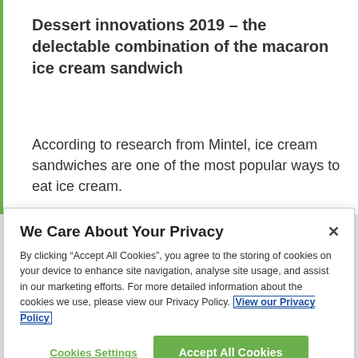Dessert innovations 2019 – the delectable combination of the macaron ice cream sandwich
According to research from Mintel, ice cream sandwiches are one of the most popular ways to eat ice cream.
We Care About Your Privacy
By clicking "Accept All Cookies", you agree to the storing of cookies on your device to enhance site navigation, analyse site usage, and assist in our marketing efforts. For more detailed information about the cookies we use, please view our Privacy Policy. View our Privacy Policy
Cookies Settings
Accept All Cookies